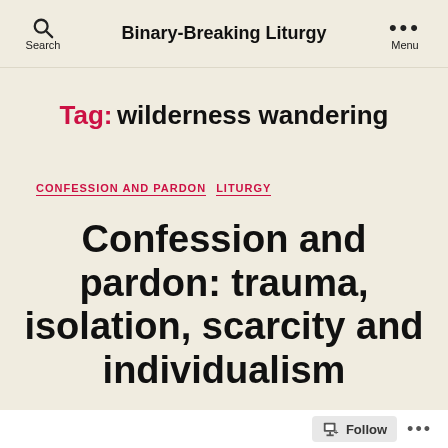Binary-Breaking Liturgy | Search | Menu
Tag: wilderness wandering
CONFESSION AND PARDON   LITURGY
Confession and pardon: trauma, isolation, scarcity and individualism
Follow ...